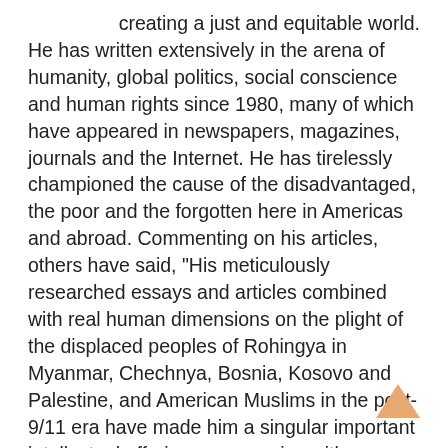creating a just and equitable world. He has written extensively in the arena of humanity, global politics, social conscience and human rights since 1980, many of which have appeared in newspapers, magazines, journals and the Internet. He has tirelessly championed the cause of the disadvantaged, the poor and the forgotten here in Americas and abroad. Commenting on his articles, others have said, "His meticulously researched essays and articles combined with real human dimensions on the plight of the displaced peoples of Rohingya in Myanmar, Chechnya, Bosnia, Kosovo and Palestine, and American Muslims in the post-9/11 era have made him a singular important intellectual offering a sane voice with counterpoints to the shrill threats of the oppressors and the powerful. He offers a fresh and insightful perspective on a whole generation of a misunderstood and